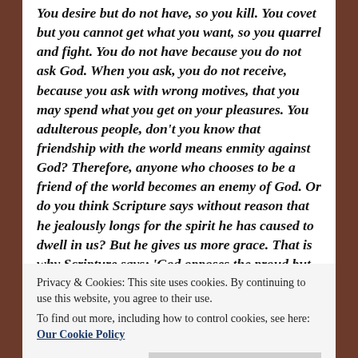You desire but do not have, so you kill. You covet but you cannot get what you want, so you quarrel and fight. You do not have because you do not ask God. When you ask, you do not receive, because you ask with wrong motives, that you may spend what you get on your pleasures. You adulterous people, don't you know that friendship with the world means enmity against God? Therefore, anyone who chooses to be a friend of the world becomes an enemy of God. Or do you think Scripture says without reason that he jealously longs for the spirit he has caused to dwell in us? But he gives us more grace. That is why Scripture says: 'God opposes the proud but shows favor to the humble.' Submit yourselves, then, to God
Privacy & Cookies: This site uses cookies. By continuing to use this website, you agree to their use.
To find out more, including how to control cookies, see here: Our Cookie Policy
he will lift you up. Brothers and sisters, do not